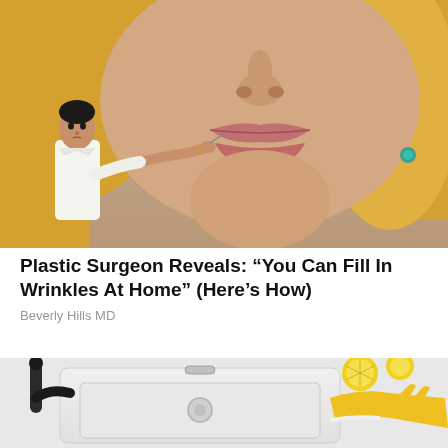[Figure (photo): Close-up photo of a woman's face (blonde hair, prominent lips) with a man in a white shirt appearing to inject or treat the area near her lip with a medical instrument.]
Plastic Surgeon Reveals: “You Can Fill In Wrinkles At Home” (Here’s How)
Beverly Hills MD
[Figure (photo): Partial photo showing a white kitchen sink area with a black faucet, yellow lemon slices, and a person's hand wearing a yellow glove.]